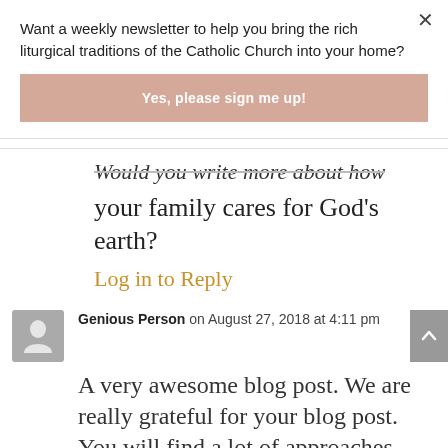Want a weekly newsletter to help you bring the rich liturgical traditions of the Catholic Church into your home?
Yes, please sign me up!
Would you write more about how your family cares for God's earth?
Log in to Reply
Genious Person on August 27, 2018 at 4:11 pm
A very awesome blog post. We are really grateful for your blog post. You will find a lot of approaches